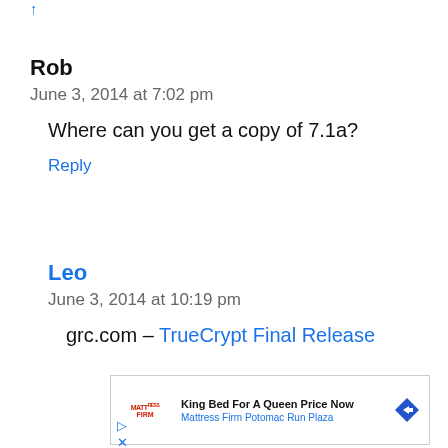↑
Rob
June 3, 2014 at 7:02 pm
Where can you get a copy of 7.1a?
Reply
Leo
June 3, 2014 at 10:19 pm
grc.com – TrueCrypt Final Release
[Figure (other): Advertisement for Mattress Firm Potomac Run Plaza: King Bed For A Queen Price Now]